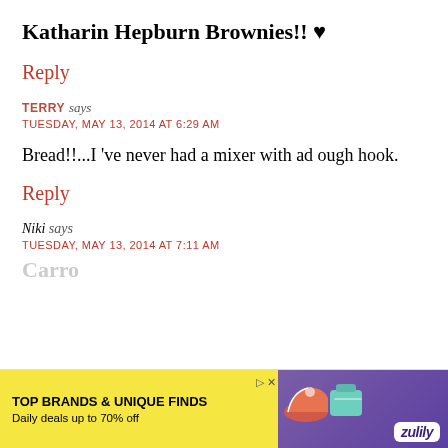Katharin Hepburn Brownies!! ♥
Reply
TERRY says
TUESDAY, MAY 13, 2014 AT 6:29 AM
Bread!!...I 've never had a mixer with ad ough hook.
Reply
Niki says
TUESDAY, MAY 13, 2014 AT 7:11 AM
Carro
[Figure (infographic): Advertisement banner for Zulily: 'TOP BRANDS & UNIQUE FINDS – Daily deals up to 70% off' with yellow background, product images (shoe, bag), and Zulily logo on purple background.]